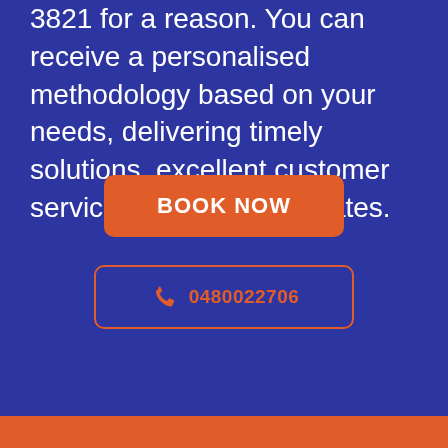3821 for a reason. You can receive a personalised methodology based on your needs, delivering timely solutions, excellent customer service, and affordable rates.
[Figure (other): Orange 'BOOK NOW' call-to-action button on dark blue background]
[Figure (other): Phone number button with phone icon and number 0480022706, outlined in orange on dark blue background]